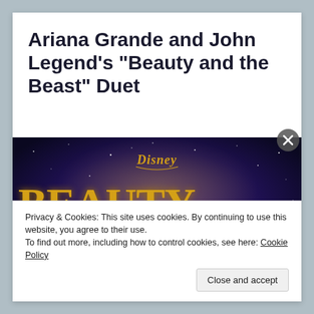Ariana Grande and John Legend's “Beauty and the Beast” Duet
[Figure (illustration): Disney Beauty and the Beast movie poster with golden ornate title text on a dark purple/blue starry background. Disney logo at top. Shows 'Beauty and the Beast' in large golden letters.]
Privacy & Cookies: This site uses cookies. By continuing to use this website, you agree to their use.
To find out more, including how to control cookies, see here: Cookie Policy
Close and accept